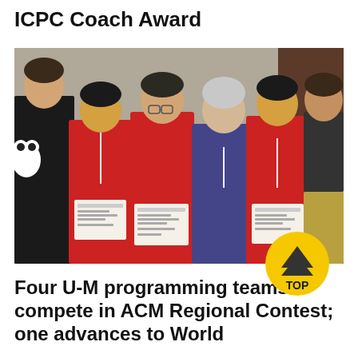ICPC Coach Award
[Figure (photo): Group photo of six people posing together. Two people on the left wear black, four people in the middle and right wear matching red t-shirts with a logo. A middle-aged man in a purple shirt stands in the center. Two people hold award certificates. A yellow circular badge with an upward chevron and the word TOP overlaps the right edge of the photo.]
Four U-M programming teams compete in ACM Regional Contest; one advances to World